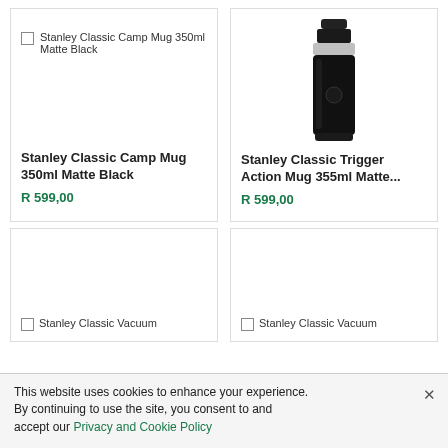[Figure (photo): Product card for Stanley Classic Camp Mug 350ml Matte Black — checkbox label, no product image visible, product title in bold, price in green]
[Figure (photo): Product card for Stanley Classic Trigger Action Mug 355ml Matte... — photo of black insulated mug/bottle, product title in bold, price in green]
[Figure (photo): Partial product card — Stanley Classic Vacuum, bottom-row left, image area mostly empty]
[Figure (photo): Partial product card — Stanley Classic Vacuum, bottom-row right, image area mostly empty]
This website uses cookies to enhance your experience. By continuing to use the site, you consent to and accept our Privacy and Cookie Policy